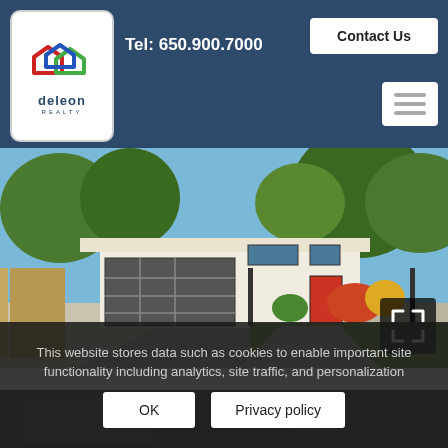Tel: 650.900.7000 | Contact Us
[Figure (logo): DeLeon Realty logo with colorful house outline icon and text 'deleon REALTY']
[Figure (photo): Modern California ranch-style home with flat roof, glass garage door, red front door, landscaped yard with flowering shrubs and trees, clear blue sky]
This website stores data such as cookies to enable important site functionality including analytics, site traffic, and personalization
OK
Privacy policy